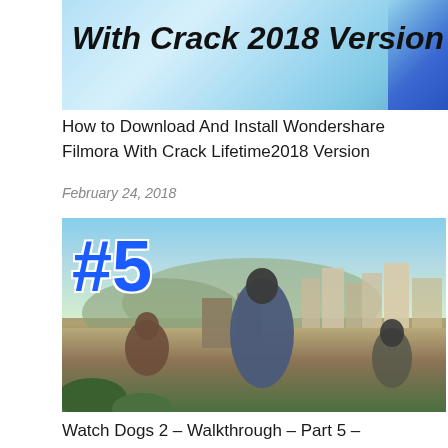[Figure (illustration): Banner image with gradient blue background and bold italic text 'With Crack 2018 Version' with a dark blue diagonal stripe on the right]
How to Download And Install Wondershare Filmora With Crack Lifetime2018 Version
February 24, 2018
[Figure (photo): Watch Dogs 2 game art showing characters overlooking San Francisco cityscape with Golden Gate Bridge, #5 badge in blue on upper left]
Watch Dogs 2 – Walkthrough – Part 5 – Cyberdriver Hack and Run (PC HD)